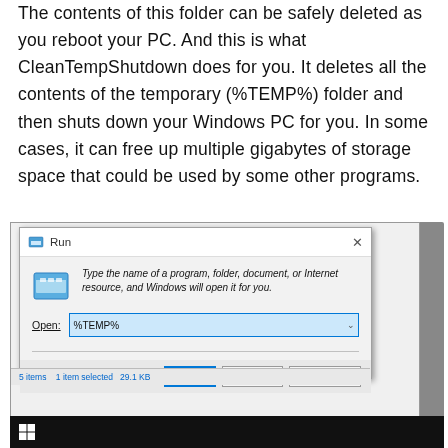The contents of this folder can be safely deleted as you reboot your PC. And this is what CleanTempShutdown does for you. It deletes all the contents of the temporary (%TEMP%) folder and then shuts down your Windows PC for you. In some cases, it can free up multiple gigabytes of storage space that could be used by some other programs.
[Figure (screenshot): Windows Run dialog box with %TEMP% typed in the Open field, showing OK, Cancel, and Browse buttons. A Windows taskbar with the Start button is visible at the bottom.]